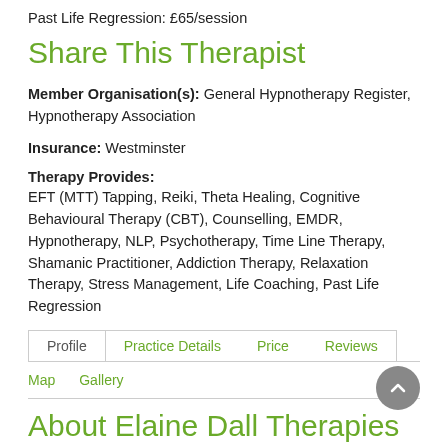Past Life Regression: £65/session
Share This Therapist
Member Organisation(s): General Hypnotherapy Register, Hypnotherapy Association
Insurance: Westminster
Therapy Provides:
EFT (MTT) Tapping, Reiki, Theta Healing, Cognitive Behavioural Therapy (CBT), Counselling, EMDR, Hypnotherapy, NLP, Psychotherapy, Time Line Therapy, Shamanic Practitioner, Addiction Therapy, Relaxation Therapy, Stress Management, Life Coaching, Past Life Regression
Profile | Practice Details | Price | Reviews
Map | Gallery
About Elaine Dall Therapies
A suitably qualified Senior Clinical Hypnotherapist and her team...